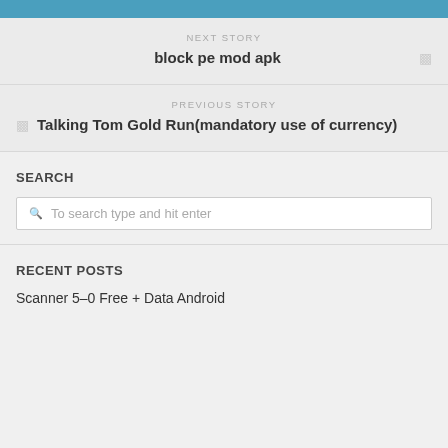NEXT STORY
block pe mod apk
PREVIOUS STORY
Talking Tom Gold Run(mandatory use of currency)
SEARCH
To search type and hit enter
RECENT POSTS
Scanner 5–0 Free + Data Android